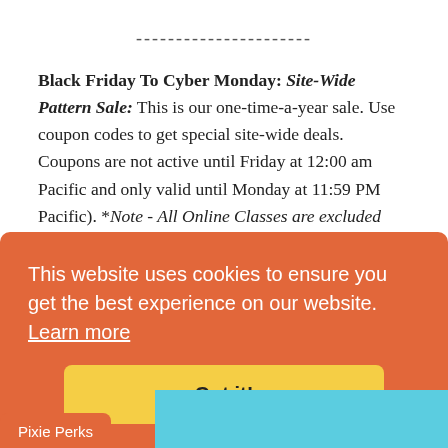----------------------
Black Friday To Cyber Monday: Site-Wide Pattern Sale: This is our one-time-a-year sale. Use coupon codes to get special site-wide deals. Coupons are not active until Friday at 12:00 am Pacific and only valid until Monday at 11:59 PM Pacific). *Note - All Online Classes are excluded from this promotion.
This website uses cookies to ensure you get the best experience on our website. Learn more
Got it!
Pixie Perks